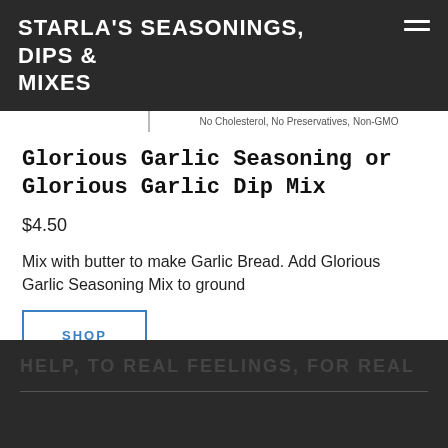STARLA'S SEASONINGS, DIPS & MIXES
No Cholesterol, No Preservatives, Non-GMO
Glorious Garlic Seasoning or Glorious Garlic Dip Mix
$4.50
Mix with butter to make Garlic Bread. Add Glorious Garlic Seasoning Mix to ground
SHOP
HELP, TO REAL FEELINGS, FOR REAL